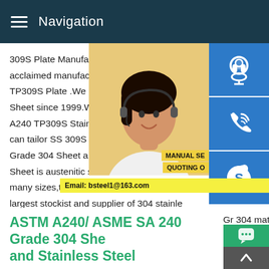Navigation
309S Plate Manufacturer.Superior Steel O acclaimed manufacturer,supplier and expo TP309S Plate .We producing stainless ste Sheet since 1999.We are largest exporter A240 TP309S Stainless steel Plate in indi can tailor SS 309S Plates into any formAS Grade 304 Sheet and Stainless Steel AST Sheet is austenitic stainless steel stainless many sizes,thickness and finishes.Aestein largest stockist and supplier of 304 stainle plates,We stock more than 800 ton stock of SA 240 Gr 304 material in 1mm to 120mm thickness and provide cut to size with 2B finish and #4 finish.if you looking for Jindal ss 304
[Figure (photo): Woman with headset customer service representative]
[Figure (infographic): Contact icons: headset, phone, Skype; Manual SE, Quoting O labels; Email: bsteel1@163.com]
[Figure (other): Chat button (green) and up arrow button (gray)]
ASTM A240/ ASME SA 240 Grade 304 She and Stainless Steel